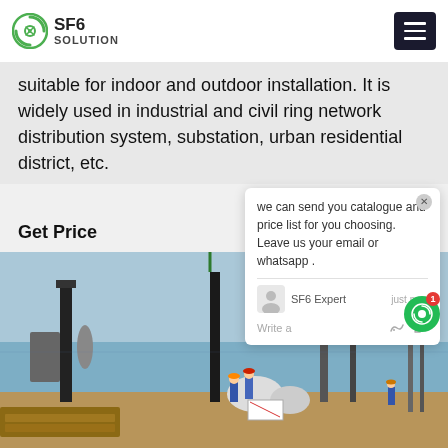SF6 SOLUTION
suitable for indoor and outdoor installation. It is widely used in industrial and civil ring network distribution system, substation, urban residential district, etc.
Get Price
[Figure (photo): Outdoor electrical substation construction site with workers in blue uniforms and hard hats, high-voltage equipment, insulators, and industrial structures]
we can send you catalogue and price list for you choosing. Leave us your email or whatsapp . SF6 Expert  just now  Write a